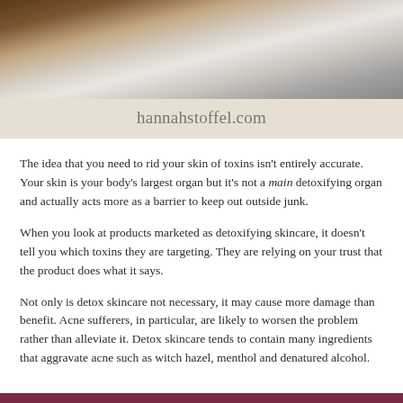[Figure (photo): Top portion of a photo showing what appears to be a bathtub or basin with steam, wooden furniture in background, soft neutral tones]
hannahstoffel.com
The idea that you need to rid your skin of toxins isn't entirely accurate. Your skin is your body's largest organ but it's not a main detoxifying organ and actually acts more as a barrier to keep out outside junk.
When you look at products marketed as detoxifying skincare, it doesn't tell you which toxins they are targeting. They are relying on your trust that the product does what it says.
Not only is detox skincare not necessary, it may cause more damage than benefit. Acne sufferers, in particular, are likely to worsen the problem rather than alleviate it. Detox skincare tends to contain many ingredients that aggravate acne such as witch hazel, menthol and denatured alcohol.